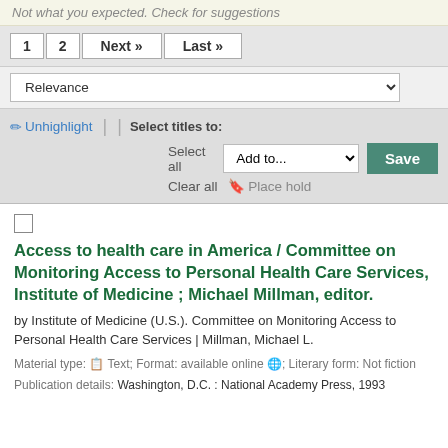Not what you expected. Check for suggestions
1  2  Next »  Last »
Relevance
✏ Unhighlight  |  | Select titles to:  Select all  Add to...  Save  Clear all  🔖 Place hold
Access to health care in America / Committee on Monitoring Access to Personal Health Care Services, Institute of Medicine ; Michael Millman, editor.
by Institute of Medicine (U.S.). Committee on Monitoring Access to Personal Health Care Services | Millman, Michael L.
Material type: Text; Format: available online ; Literary form: Not fiction
Publication details: Washington, D.C. : National Academy Press, 1993